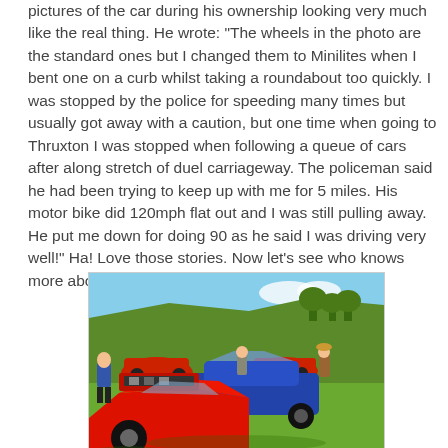pictures of the car during his ownership looking very much like the real thing. He wrote: "The wheels in the photo are the standard ones but I changed them to Minilites when I bent one on a curb whilst taking a roundabout too quickly. I was stopped by the police for speeding many times but usually got away with a caution, but one time when going to Thruxton I was stopped when following a queue of cars after along stretch of duel carriageway. The policeman said he had been trying to keep up with me for 5 miles. His motor bike did 120mph flat out and I was still pulling away. He put me down for doing 90 as he said I was driving very well!" Ha! Love those stories. Now let's see who knows more about it...
[Figure (photo): Outdoor car show/meet on grass with several classic sports cars visible: a red car in the foreground with hood open, a blue car in the middle, red cars behind, people milling around, green grassy hillside in the background with trees and blue sky.]